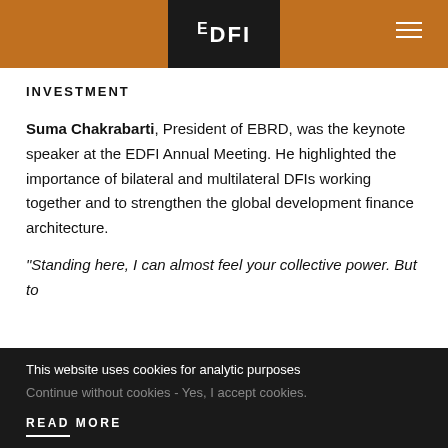EDFI
INVESTMENT
Suma Chakrabarti, President of EBRD, was the keynote speaker at the EDFI Annual Meeting. He highlighted the importance of bilateral and multilateral DFIs working together and to strengthen the global development finance architecture.
"Standing here, I can almost feel your collective power. But to
This website uses cookies for analytic purposes
Continue without cookies - Yes, I accept cookies.
READ MORE